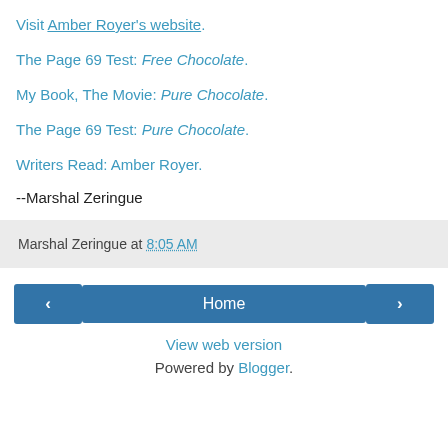Visit Amber Royer's website.
The Page 69 Test: Free Chocolate.
My Book, The Movie: Pure Chocolate.
The Page 69 Test: Pure Chocolate.
Writers Read: Amber Royer.
--Marshal Zeringue
Marshal Zeringue at 8:05 AM
Home
View web version
Powered by Blogger.